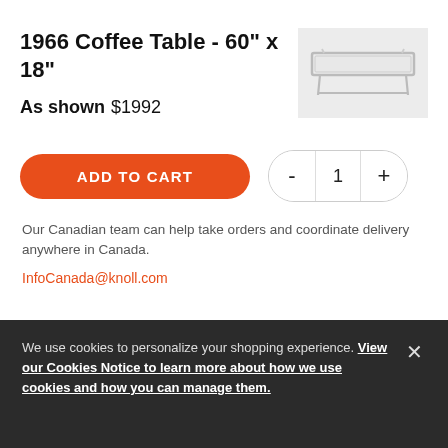1966 Coffee Table - 60" x 18"
As shown  $1992
[Figure (photo): Product photo of the 1966 Coffee Table, a low rectangular coffee table with thin metal legs and a glass top, shown in white/light gray finish on a light gray background.]
ADD TO CART
- 1 +
Our Canadian team can help take orders and coordinate delivery anywhere in Canada.
InfoCanada@knoll.com
We use cookies to personalize your shopping experience. View our Cookies Notice to learn more about how we use cookies and how you can manage them.